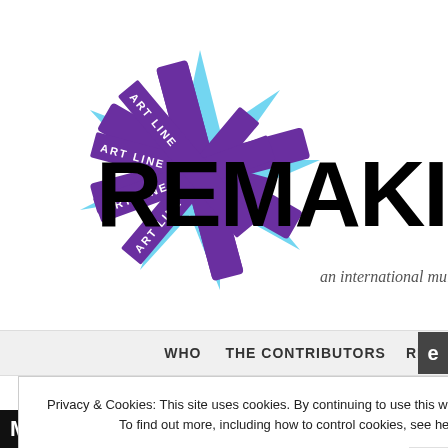[Figure (logo): Remaking Meaning website logo — geometric star/asterisk shape in cyan and purple with diagonal purple banner ribbons reading 'ART LINE']
REMAKING M
an international multimodal storyte
WHO   THE CONTRIBUTORS   REM
Privacy & Cookies: This site uses cookies. By continuing to use this website, you agree to their use.
To find out more, including how to control cookies, see here: Cookie Policy
Close and accept
MAR 31, 2013   TIM AHAN! WHAT SHA